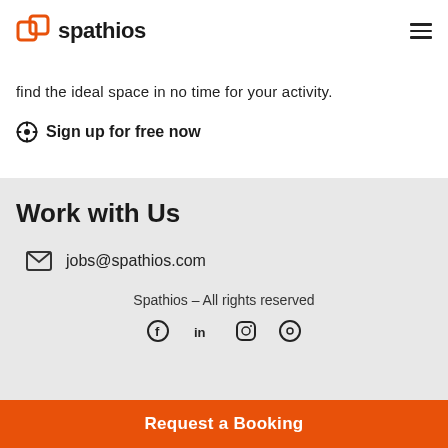spathios
find the ideal space in no time for your activity.
⊕ Sign up for free now
Work with Us
jobs@spathios.com
Spathios - All rights reserved
Request a Booking